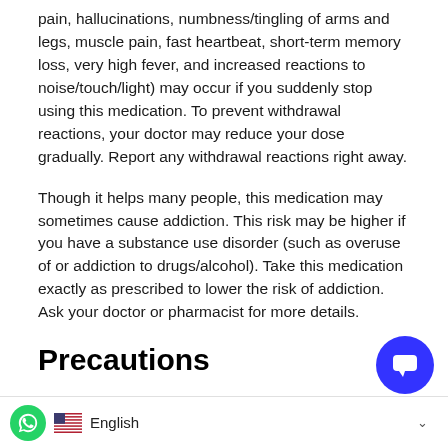pain, hallucinations, numbness/tingling of arms and legs, muscle pain, fast heartbeat, short-term memory loss, very high fever, and increased reactions to noise/touch/light) may occur if you suddenly stop using this medication. To prevent withdrawal reactions, your doctor may reduce your dose gradually. Report any withdrawal reactions right away.
Though it helps many people, this medication may sometimes cause addiction. This risk may be higher if you have a substance use disorder (such as overuse of or addiction to drugs/alcohol). Take this medication exactly as prescribed to lower the risk of addiction. Ask your doctor or pharmacist for more details.
Precautions
Do not suddenly stop using this drug without consulting your doctor. Some conditions may become worse when this is abruptly stopped. Your dose may need to be gradually